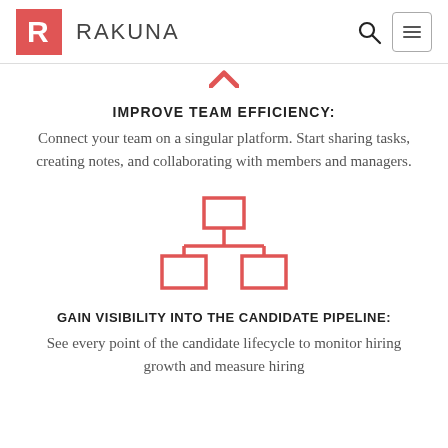RAKUNA
[Figure (illustration): Red chevron/arrow pointing upward, partial view at top of content area]
IMPROVE TEAM EFFICIENCY:
Connect your team on a singular platform. Start sharing tasks, creating notes, and collaborating with members and managers.
[Figure (illustration): Organizational chart icon in red/salmon outline — a top box connected to two boxes below via lines]
GAIN VISIBILITY INTO THE CANDIDATE PIPELINE:
See every point of the candidate lifecycle to monitor hiring growth and measure hiring